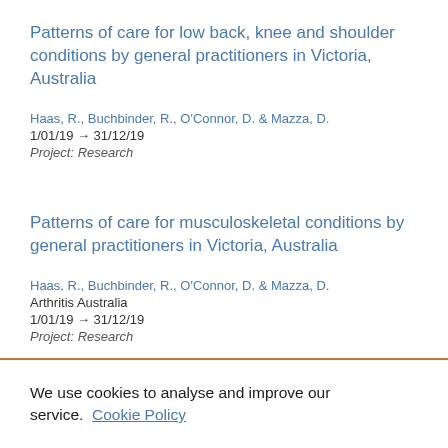Patterns of care for low back, knee and shoulder conditions by general practitioners in Victoria, Australia
Haas, R., Buchbinder, R., O'Connor, D. & Mazza, D.
1/01/19 → 31/12/19
Project: Research
Patterns of care for musculoskeletal conditions by general practitioners in Victoria, Australia
Haas, R., Buchbinder, R., O'Connor, D. & Mazza, D.
Arthritis Australia
1/01/19 → 31/12/19
Project: Research
We use cookies to analyse and improve our service.  Cookie Policy